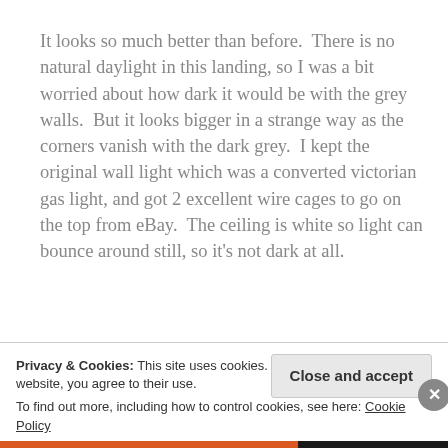It looks so much better than before.  There is no natural daylight in this landing, so I was a bit worried about how dark it would be with the grey walls.  But it looks bigger in a strange way as the corners vanish with the dark grey.  I kept the original wall light which was a converted victorian gas light, and got 2 excellent wire cages to go on the top from eBay.  The ceiling is white so light can bounce around still, so it's not dark at all.
Privacy & Cookies: This site uses cookies. By continuing to use this website, you agree to their use.
To find out more, including how to control cookies, see here: Cookie Policy
Close and accept